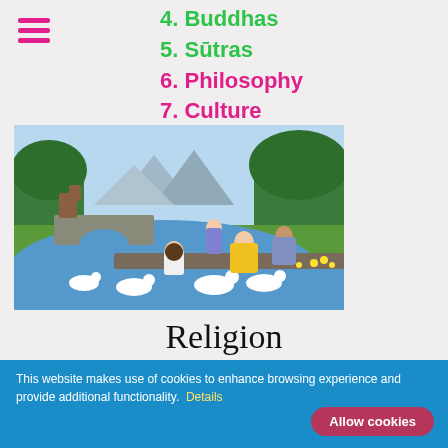4. Buddhas
5. Sūtras
6. Philosophy
7. Culture
[Figure (illustration): Pastoral illustration showing a family by a river with swans/geese; a child feeding geese at the water's edge, a woman in yellow dress, a man, a girl in purple dress, horses on a stone bridge in the background, trees and mountains in the distance.]
Religion
This website makes use of cookies to enhance browsing experience and provide additional functionality. Details
Allow cookies